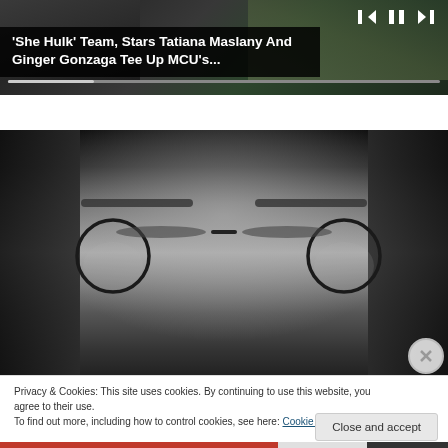[Figure (screenshot): Video player showing a media player interface with playback controls (skip-back, pause, skip-forward), a progress bar, and a dark overlay title card reading 'She Hulk' Team, Stars Tatiana Maslany And Ginger Gonzaga Tee Up MCU's...]
'She Hulk' Team, Stars Tatiana Maslany And Ginger Gonzaga Tee Up MCU's...
[Figure (photo): Black and white close-up photograph of a person wearing round wire-frame glasses, with long dark hair, showing intense eyes and part of the nose.]
Privacy & Cookies: This site uses cookies. By continuing to use this website, you agree to their use.
To find out more, including how to control cookies, see here: Cookie Policy
Close and accept